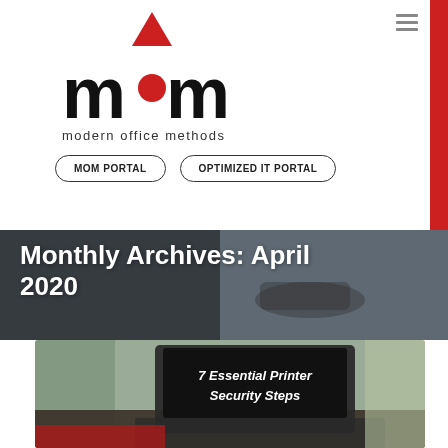[Figure (logo): Modern Office Methods logo - 'mom' text with red circle as the 'o' and red inverted triangle above, with 'modern office methods' tagline below]
MOM PORTAL
OPTIMIZED IT PORTAL
Monthly Archives: April 2020
[Figure (photo): Photo of person typing on a laptop with a laptop screen showing text '7 Essential Printer Security Steps' in white bold italic font on black background]